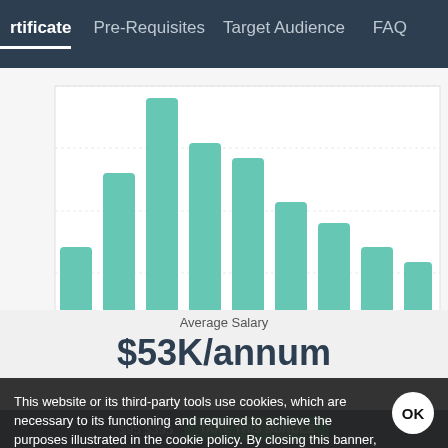rtificate | Pre-Requisites | Target Audience | FAQ
[Figure (histogram): Average Salary]
This website or its third-party tools use cookies, which are necessary to its functioning and required to achieve the purposes illustrated in the cookie policy. By closing this banner, scrolling this page, clicking a link or continuing to browse otherwise, you agree to our Privacy Policy
$95 $395  TAKE THIS BUNDLE